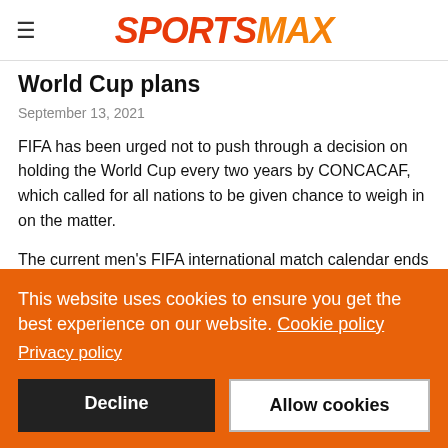SPORTSMAX
World Cup plans
September 13, 2021
FIFA has been urged not to push through a decision on holding the World Cup every two years by CONCACAF, which called for all nations to be given chance to weigh in on the matter.
The current men's FIFA international match calendar ends in 2024 and Arsene Wenger is seeking to shape a new schedule in his role as FIFA's chief of global football development, but his
This website uses cookies to ensure you get the best experience on our website. Cookie policy
Privacy policy
Decline
Allow cookies